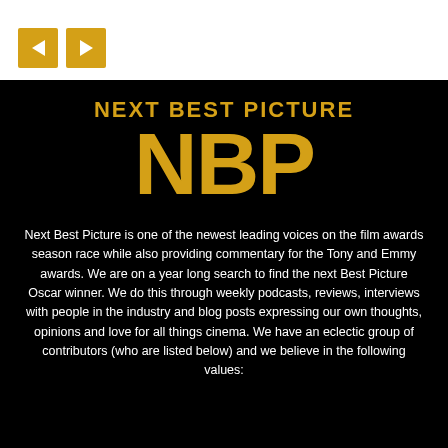[Figure (other): Navigation prev/next buttons in gold/yellow color on white background]
[Figure (logo): Next Best Picture NBP logo — bold gold text 'NEXT BEST PICTURE' above large gold letters 'NBP' on black background]
Next Best Picture is one of the newest leading voices on the film awards season race while also providing commentary for the Tony and Emmy awards. We are on a year long search to find the next Best Picture Oscar winner. We do this through weekly podcasts, reviews, interviews with people in the industry and blog posts expressing our own thoughts, opinions and love for all things cinema. We have an eclectic group of contributors (who are listed below) and we believe in the following values: